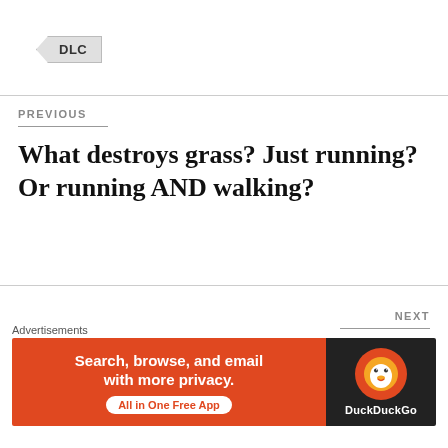DLC
PREVIOUS
What destroys grass? Just running? Or running AND walking?
NEXT
Blog Overhaul
2 thoughts on “The Totally
Advertisements
[Figure (other): DuckDuckGo advertisement banner: 'Search, browse, and email with more privacy. All in One Free App' with DuckDuckGo logo on dark background]